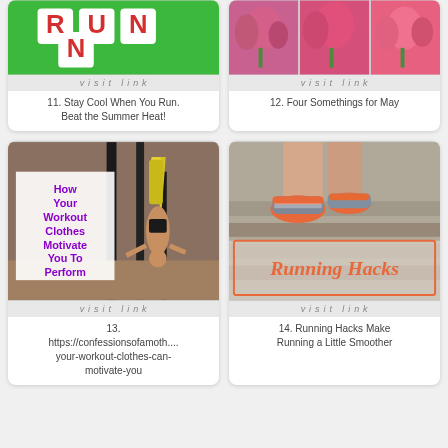[Figure (photo): Dice letters spelling RUN on green background]
visit link
11. Stay Cool When You Run. Beat the Summer Heat!
[Figure (photo): Three images of pink and red tulips]
visit link
12. Four Somethings for May
[Figure (photo): Woman doing handstand outdoors with text 'How Your Workout Clothes Motivate You To Perform']
visit link
13. https://confessionsofamoth.... your-workout-clothes-can-motivate-you
[Figure (photo): Close-up of running shoes on stairs with text 'Running Hacks']
visit link
14. Running Hacks Make Running a Little Smoother